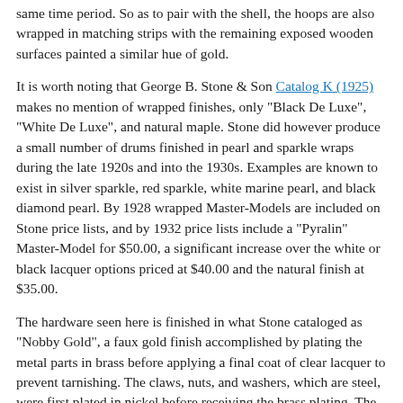same time period. So as to pair with the shell, the hoops are also wrapped in matching strips with the remaining exposed wooden surfaces painted a similar hue of gold.
It is worth noting that George B. Stone & Son Catalog K (1925) makes no mention of wrapped finishes, only "Black De Luxe", "White De Luxe", and natural maple. Stone did however produce a small number of drums finished in pearl and sparkle wraps during the late 1920s and into the 1930s. Examples are known to exist in silver sparkle, red sparkle, white marine pearl, and black diamond pearl. By 1928 wrapped Master-Models are included on Stone price lists, and by 1932 price lists include a "Pyralin" Master-Model for $50.00, a significant increase over the white or black lacquer options priced at $40.00 and the natural finish at $35.00.
The hardware seen here is finished in what Stone cataloged as "Nobby Gold", a faux gold finish accomplished by plating the metal parts in brass before applying a final coat of clear lacquer to prevent tarnishing. The claws, nuts, and washers, which are steel, were first plated in nickel before receiving the brass plating. The lug posts are made from brass and did not need to be nickel plated prior to the brass plating and...